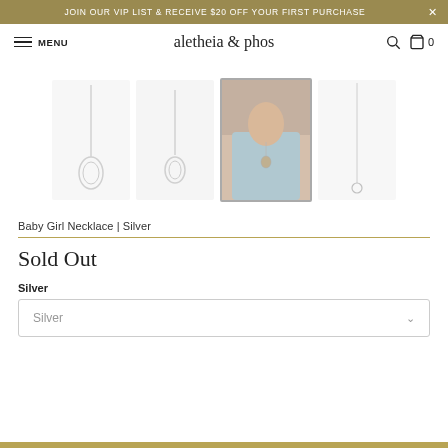JOIN OUR VIP LIST & RECEIVE $20 OFF YOUR FIRST PURCHASE  ×
MENU  aletheia & phos  🔍  🛍 0
[Figure (photo): Four product thumbnail images of Baby Girl Necklace in Silver: two product-only shots showing oval pendant on chain, one lifestyle photo of model wearing necklace, one full-length chain view]
Baby Girl Necklace | Silver
Sold Out
Silver
Silver  ∨